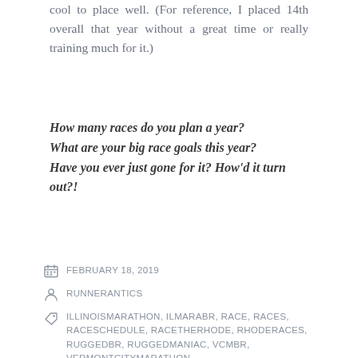cool to place well. (For reference, I placed 14th overall that year without a great time or really training much for it.)
How many races do you plan a year?
What are your big race goals this year?
Have you ever just gone for it? How'd it turn out?!
FEBRUARY 18, 2019
RUNNERANTICS
ILLINOISMARATHON, ILMARABR, RACE, RACES, RACESCHEDULE, RACETHERHODE, RHODERACES, RUGGEDBR, RUGGEDMANIAC, VCMBR, VERMONTCITYMARATHON
3 COMMENTS